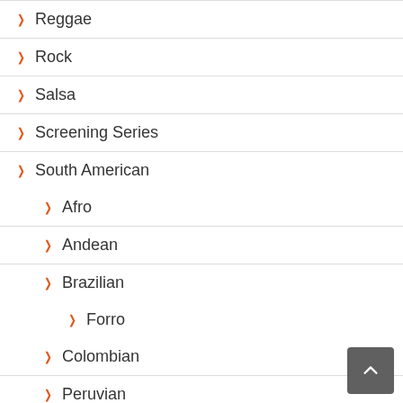Reggae
Rock
Salsa
Screening Series
South American
Afro
Andean
Brazilian
Forro
Colombian
Peruvian